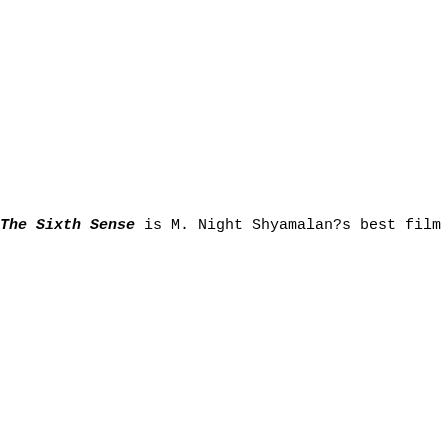The Sixth Sense is M. Night Shyamalan?s best film to date